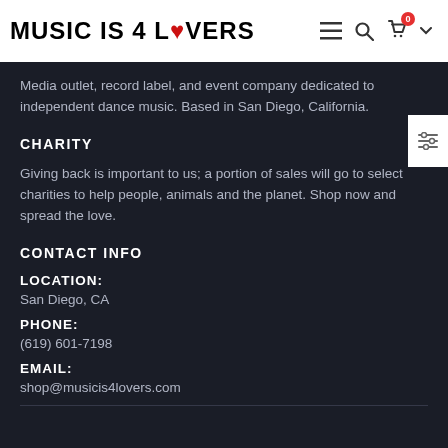MUSIC IS 4 LOVERS
Media outlet, record label, and event company dedicated to independent dance music. Based in San Diego, California.
CHARITY
Giving back is important to us; a portion of sales will go to select charities to help people, animals and the planet. Shop now and spread the love.
CONTACT INFO
LOCATION:
San Diego, CA
PHONE:
(619) 601-7198
EMAIL:
shop@musicis4lovers.com